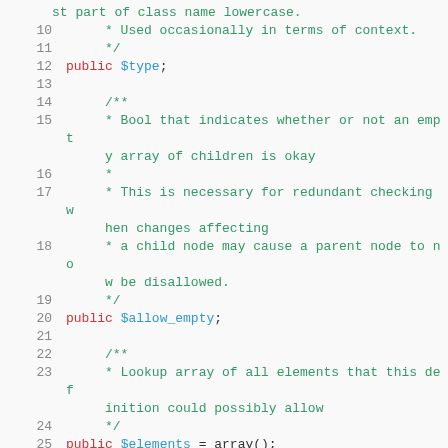[Figure (screenshot): PHP source code snippet showing class properties with PHPDoc comments. Lines 10-26 visible, including public $type, public $allow_empty, and public $elements properties with their documentation comments.]